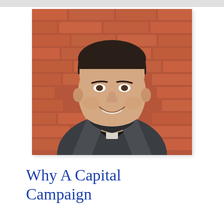[Figure (photo): Portrait photo of a smiling young man wearing a clerical collar and dark grey cardigan, standing against a red brick wall]
Why A Capital Campaign